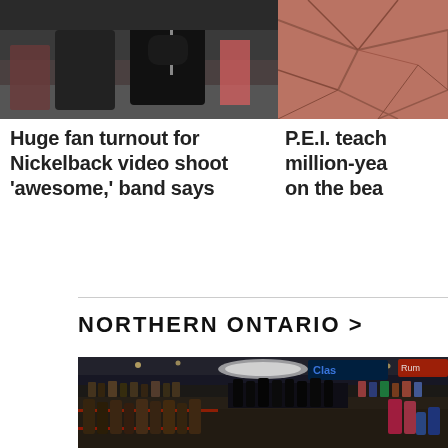[Figure (photo): Two people at a microphone/recording setup, one in a black t-shirt, on a stage or studio setting]
[Figure (photo): Close-up of reddish-brown cracked dry earth or clay surface]
Huge fan turnout for Nickelback video shoot 'awesome,' band says
P.E.I. teach million-yea on the bea
NORTHERN ONTARIO >
[Figure (photo): Interior of a large liquor store (LCBO style) with shelves stocked with many bottles of spirits and alcohol, neon signs visible in the background, colorful product displays]